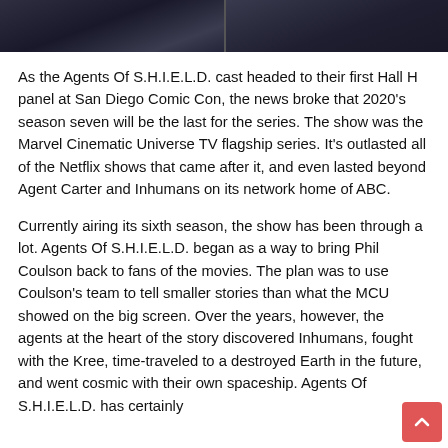[Figure (photo): Two side-by-side dark photos, likely stills from Agents of S.H.I.E.L.D., shown as a horizontal strip at the top of the page.]
As the Agents Of S.H.I.E.L.D. cast headed to their first Hall H panel at San Diego Comic Con, the news broke that 2020's season seven will be the last for the series. The show was the Marvel Cinematic Universe TV flagship series. It's outlasted all of the Netflix shows that came after it, and even lasted beyond Agent Carter and Inhumans on its network home of ABC.
Currently airing its sixth season, the show has been through a lot. Agents Of S.H.I.E.L.D. began as a way to bring Phil Coulson back to fans of the movies. The plan was to use Coulson's team to tell smaller stories than what the MCU showed on the big screen. Over the years, however, the agents at the heart of the story discovered Inhumans, fought with the Kree, time-traveled to a destroyed Earth in the future, and went cosmic with their own spaceship. Agents Of S.H.I.E.L.D. has certainly